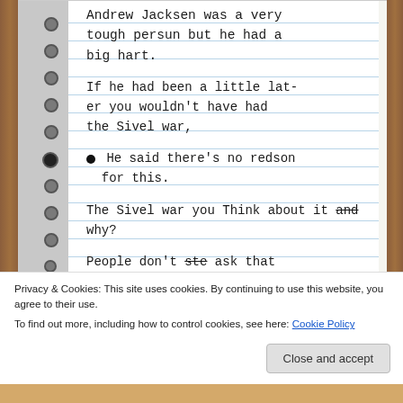[Figure (photo): A photo of a handwritten student notebook page on lined paper with spiral binding on the left. The text reads: 'Andrew Jacksen was a very tough persun but he had a big hart. If he had been a little later you wouldnt have had the Sivel war. He said theres no redson for this. The Sivel war you Think about it and why? People dont [crossed out word] ask that questchun. But why was']
Privacy & Cookies: This site uses cookies. By continuing to use this website, you agree to their use. To find out more, including how to control cookies, see here: Cookie Policy